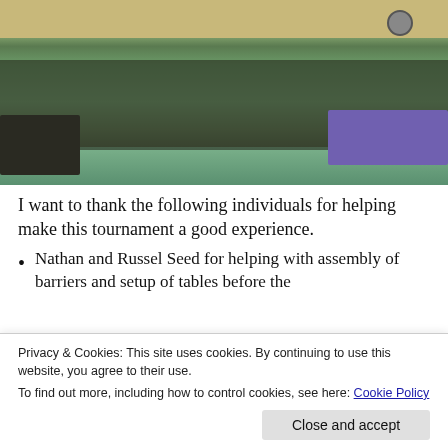[Figure (photo): Group photo of many people (adults and children) standing together in a sports hall with table tennis tables and purple barriers visible]
I want to thank the following individuals for helping make this tournament a good experience.
Nathan and Russel Seed for helping with assembly of barriers and setup of tables before the
Privacy & Cookies: This site uses cookies. By continuing to use this website, you agree to their use.
To find out more, including how to control cookies, see here: Cookie Policy
Andrew Moy for helping with dis-assembly of